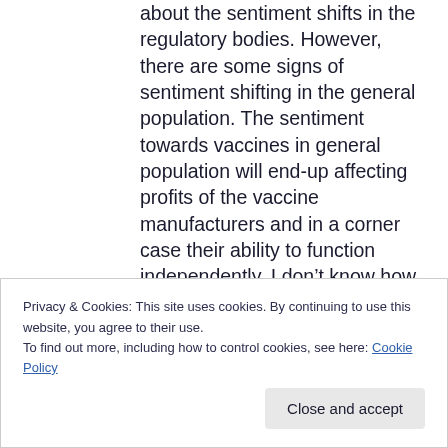about the sentiment shifts in the regulatory bodies. However, there are some signs of sentiment shifting in the general population. The sentiment towards vaccines in general population will end-up affecting profits of the vaccine manufacturers and in a corner case their ability to function independently. I don't know how much the sentiment swings and how much the political process will reflect the change in sentiment. But it is risk to the long thesis.
Privacy & Cookies: This site uses cookies. By continuing to use this website, you agree to their use.
To find out more, including how to control cookies, see here: Cookie Policy